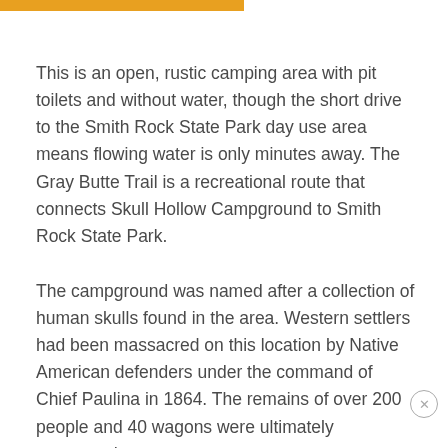This is an open, rustic camping area with pit toilets and without water, though the short drive to the Smith Rock State Park day use area means flowing water is only minutes away. The Gray Butte Trail is a recreational route that connects Skull Hollow Campground to Smith Rock State Park.
The campground was named after a collection of human skulls found in the area. Western settlers had been massacred on this location by Native American defenders under the command of Chief Paulina in 1864. The remains of over 200 people and 40 wagons were ultimately uncovered.